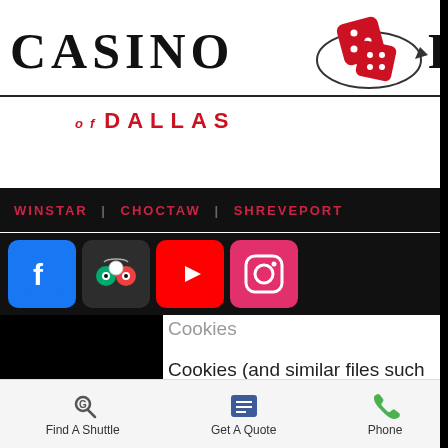[Figure (screenshot): Casino Rides of Dallas website header logo with dice graphic]
WINSTAR | CHOCTAW | SHREVEPORT
[Figure (screenshot): Social media icons bar: Facebook, TripAdvisor, YouTube, Instagram, and MENU hamburger button]
Cookies
Cookies (and similar files such as single pixel GIF's, web beacons or tags) are small computer files written to your computer when you visit Web sites. You have the option of setting your browser to refuse Cookies. To utilize all promotional offers and discounts on MyCasinoRide.com you need to allow temporary "session cookies" that will go away when your browser is closed. No personal or
Find A Shuttle   Get A Quote   Phone